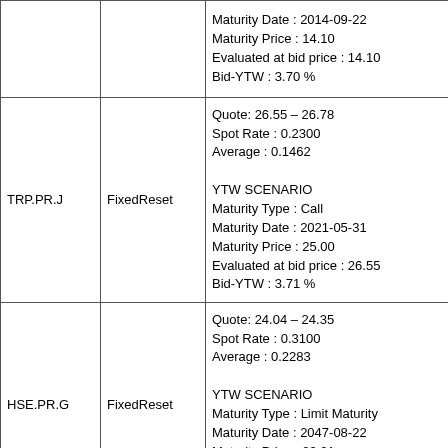| Ticker | Type | Details |
| --- | --- | --- |
|  |  | Maturity Date : 2014-09-22
Maturity Price : 14.10
Evaluated at bid price : 14.10
Bid-YTW : 3.70 % |
| TRP.PR.J | FixedReset | Quote: 26.55 – 26.78
Spot Rate : 0.2300
Average : 0.1462

YTW SCENARIO
Maturity Type : Call
Maturity Date : 2021-05-31
Maturity Price : 25.00
Evaluated at bid price : 26.55
Bid-YTW : 3.71 % |
| HSE.PR.G | FixedReset | Quote: 24.04 – 24.35
Spot Rate : 0.3100
Average : 0.2283

YTW SCENARIO
Maturity Type : Limit Maturity
Maturity Date : 2047-08-22
Maturity Price : 23.01
Evaluated at bid price : 24.04
Bid-YTW : 5.17 % |
|  |  | Quote: 21.62 – 21.89 |